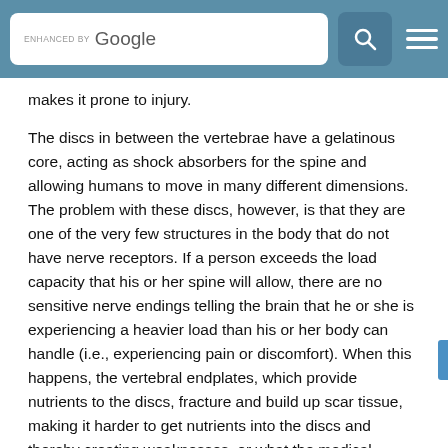ENHANCED BY Google [search bar] [search icon] [menu icon]
makes it prone to injury.
The discs in between the vertebrae have a gelatinous core, acting as shock absorbers for the spine and allowing humans to move in many different dimensions. The problem with these discs, however, is that they are one of the very few structures in the body that do not have nerve receptors. If a person exceeds the load capacity that his or her spine will allow, there are no sensitive nerve endings telling the brain that he or she is experiencing a heavier load than his or her body can handle (i.e., experiencing pain or discomfort). When this happens, the vertebral endplates, which provide nutrients to the discs, fracture and build up scar tissue, making it harder to get nutrients into the discs and thereby creating weaknesses, or what the medical community calls "disc degeneration."